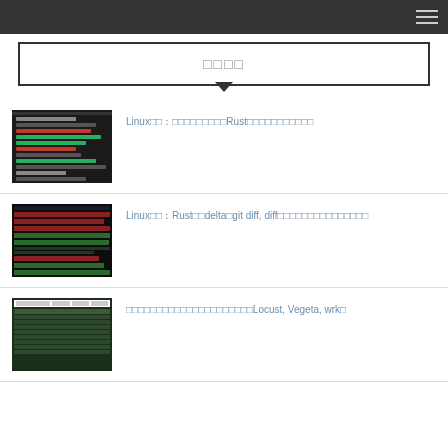□□□□
[Figure (screenshot): Code editor screenshot with dark background and colored syntax highlighting]
Linux□□：□□□□□□□□□Rust□□□□□□□□□□□
[Figure (screenshot): Terminal showing git diff output with red and green highlighted lines]
Linux□□：Rust□□delta□git diff, diff□□□□□□□□□□□□□□□
[Figure (screenshot): Web performance testing table with green background showing Locust, Vegeta, wrk results]
□□□□□□□□□□□□□□□□□□□□□Locust, Vegeta, wrk□